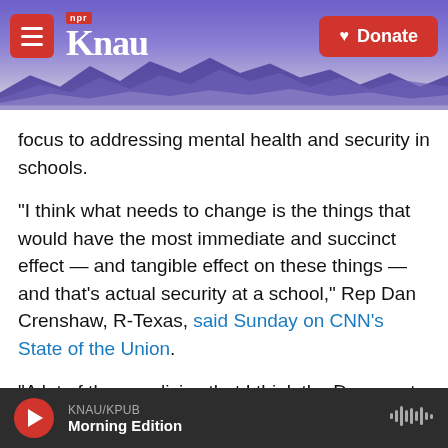KNAU NPR - Donate
[Figure (screenshot): Purple mountain landscape background with KNAU NPR logo on the left and red Donate button on the right]
focus to addressing mental health and security in schools.
"I think what needs to change is the things that would have the most immediate and succinct effect — and tangible effect on these things — and that's actual security at a school," Rep Dan Crenshaw, R-Texas, said Sunday on CNN's State of the Union.
"A lot of these policies that I think the Democrats often propose that are gun control policies, they do two things," Crenshaw added. "One, they infringe
KNAU/KPUB Morning Edition